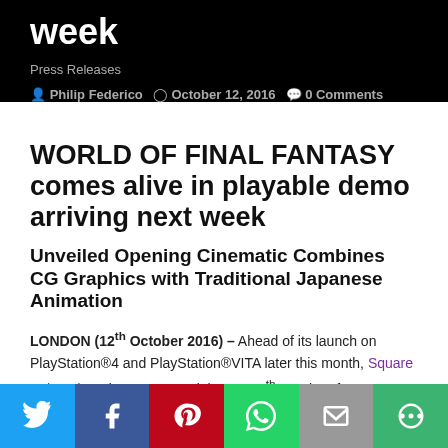week
Press Releases
Philip Federico   October 12, 2016   0 Comments
WORLD OF FINAL FANTASY comes alive in playable demo arriving next week
Unveiled Opening Cinematic Combines CG Graphics with Traditional Japanese Animation
LONDON (12th October 2016) – Ahead of its launch on PlayStation®4 and PlayStation®VITA later this month, Square Enix Ltd., today announced that on 17th October, fans can preview the